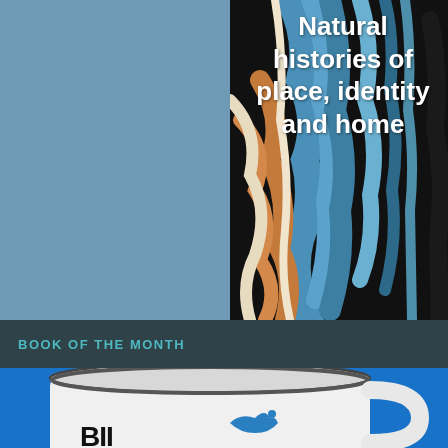[Figure (illustration): Book cover image: colorful abstract painting of a bird (kingfisher-like) in blue, orange, and cream tones on dark background, with a blue-grey panel on the left]
Natural histories of place, identity and home
BOOK OF THE MONTH
[Figure (photo): White enamel camping mug with a dark rim, featuring a blue bird logo and partial text, photographed against a bright blue background]